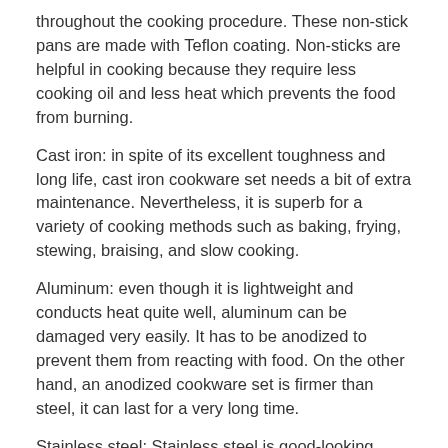throughout the cooking procedure. These non-stick pans are made with Teflon coating. Non-sticks are helpful in cooking because they require less cooking oil and less heat which prevents the food from burning.
Cast iron: in spite of its excellent toughness and long life, cast iron cookware set needs a bit of extra maintenance. Nevertheless, it is superb for a variety of cooking methods such as baking, frying, stewing, braising, and slow cooking.
Aluminum: even though it is lightweight and conducts heat quite well, aluminum can be damaged very easily. It has to be anodized to prevent them from reacting with food. On the other hand, an anodized cookware set is firmer than steel, it can last for a very long time.
Stainless steel: Stainless steel is good-looking, hard-wearing and easy to maintain. It is easily cleaned, It generally has a copper or aluminum center for improved conductivity; it is not easily damaged by scratching, denting and warping.